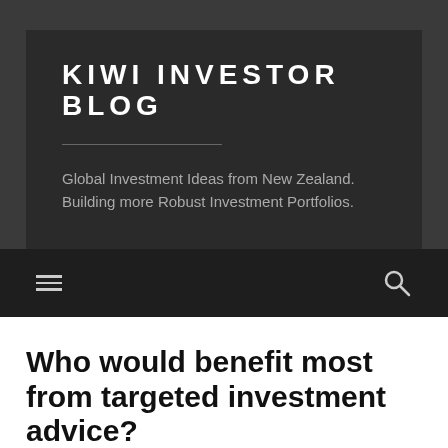KIWI INVESTOR BLOG
Global Investment Ideas from New Zealand. Building more Robust Investment Portfolios.
≡  🔍
Who would benefit most from targeted investment advice?